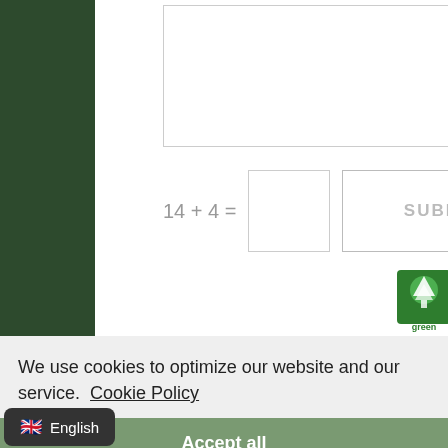[Figure (screenshot): Web form with textarea, math captcha (14 + 4 =), input box, and SUBMIT button on white background with dark green blurred background]
[Figure (logo): Small green tree logo with text 'green' underneath]
We use cookies to optimize our website and our service.  Cookie Policy
Accept all
Functional only
View preferences
English